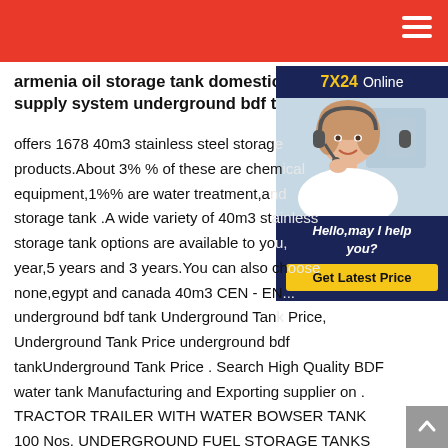armenia oil storage tank domestic water supply system underground bdf tank
[Figure (photo): Chat widget with a woman wearing a headset smiling, navy blue background, showing '7X24 Online', 'Hello,may I help you?', and a yellow 'Get Latest Price' button]
offers 1678 40m3 stainless steel storage products.About 3% % of these are chemical equipment,1%% are water treatment,and storage tank .A wide variety of 40m3 stainless storage tank options are available to you, such as year,5 years and 3 years.You can also choose from none,egypt and canada 40m3 CEN - EN underground bdf tank Underground Tank Price, Underground Tank Price underground bdf tankUnderground Tank Price . Search High Quality BDF water tank Manufacturing and Exporting supplier on . TRACTOR TRAILER WITH WATER BOWSER TANK 100 Nos. UNDERGROUND FUEL STORAGE TANKS